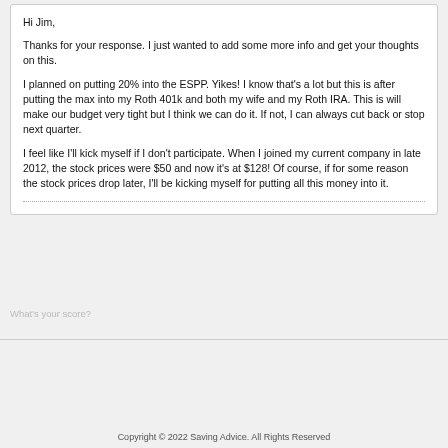Hi Jim,

Thanks for your response. I just wanted to add some more info and get your thoughts on this.

I planned on putting 20% into the ESPP. Yikes! I know that's a lot but this is after putting the max into my Roth 401k and both my wife and my Roth IRA. This is will make our budget very tight but I think we can do it. If not, I can always cut back or stop next quarter.

I feel like I'll kick myself if I don't participate. When I joined my current company in late 2012, the stock prices were $50 and now it's at $128! Of course, if for some reason the stock prices drop later, I'll be kicking myself for putting all this money into it.
[Figure (infographic): Credit Karma advertisement bar showing a credit score of 580 Fair on a slider, with a 'See my scores' green button and 'credit karma' logo in green. Also shows 'What's your score?' label.]
Copyright © 2022 Saving Advice. All Rights Reserved